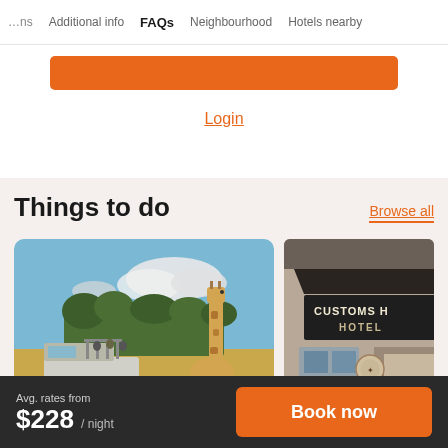ns   Additional info   FAQs   Neighbourhood   Hotels nearby
Login
Things to do
Browse all
[Figure (photo): Safari vehicle with open sides parked in savannah landscape with a giraffe standing nearby and trees in background under blue sky with clouds]
[Figure (photo): Exterior of Customs House Hotel building showing signage]
Avg. rates from $228 / night   Book now